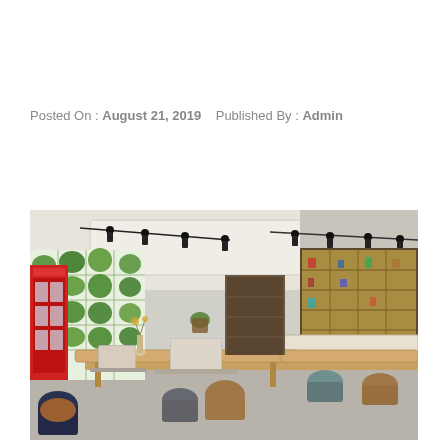Posted On : August 21, 2019    Published By : Admin
[Figure (photo): Interior render of a modern co-working space with wooden communal tables, laptops, colorful chairs, vertical garden wall with plants behind glass panels on the left, a red classic British telephone box, pendant track lighting, and a lit display shelving unit on the right side.]